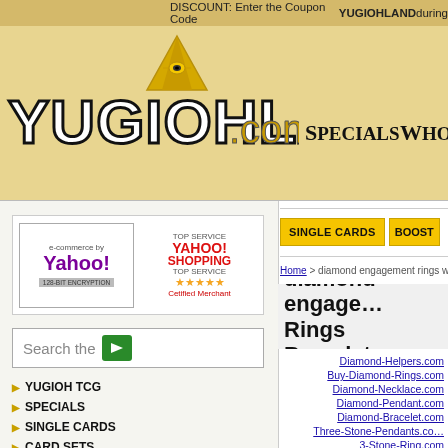DISCOUNT: Enter the Coupon Code YUGIOHLAND during
[Figure (logo): YUGIOHLAND.com logo with pyramid/eye icon on golden/yellow background]
Specials  Who
[Figure (logo): Yahoo e-commerce by Yahoo 128-bit encryption badge and Yahoo Shopping Top Service Certified Merchant badge]
Search the
YUGIOH TCG
SPECIALS
SINGLE CARDS
CARD SETS
CARD LOTS
COLLECTOR TINS
BOOSTER PACKS
BOOSTER BOXES
STARTER DECKS
MOVIE CARDS
DUEL DISKS
VIDEO GAMES
GOD CARDS
MERCHANDISE
SINGLE CARDS   BOOST
Home > diamond engagement rings we
diamond engage… Rings Bracelets
Diamond-Helpers.com
Buy-Diamond-Rings.com
Diamond-Necklace.com
Diamond-Pendant.com
Diamond-Bracelet.com
Three-Stone-Pendants.com
3-Stone-Ring.com
Diamond-P…